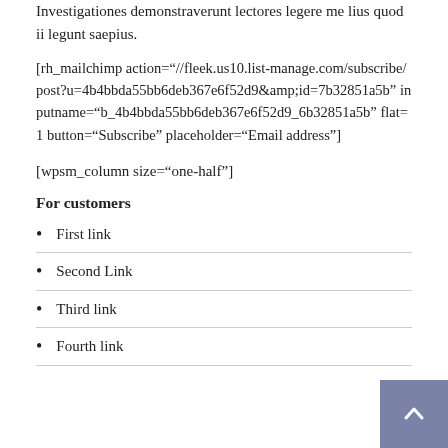Investigationes demonstraverunt lectores legere me lius quod ii legunt saepius.
[rh_mailchimp action="//fleek.us10.list-manage.com/subscribe/post?u=4b4bbda55bb6deb367e6f52d9&amp;id=7b32851a5b" inputname="b_4b4bbda55bb6deb367e6f52d9_6b32851a5b" flat=1 button="Subscribe" placeholder="Email address"]
[wpsm_column size="one-half"]
For customers
First link
Second Link
Third link
Fourth link